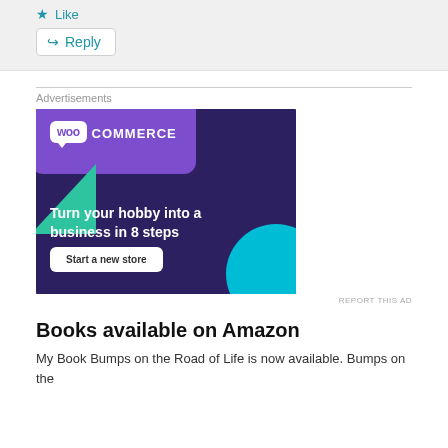Like
Reply
Advertisements
[Figure (illustration): WooCommerce advertisement: dark purple/navy background with purple rounded rectangle, teal/green triangle bottom-left, cyan circle bottom-right. WooCommerce logo top-left (white speech bubble with 'woo' and 'COMMERCE' text). Tagline: 'Turn your hobby into a business in 8 steps'. White button: 'Start a new store'.]
REPORT THIS AD
Books available on Amazon
My Book Bumps on the Road of Life is now available. Bumps on the